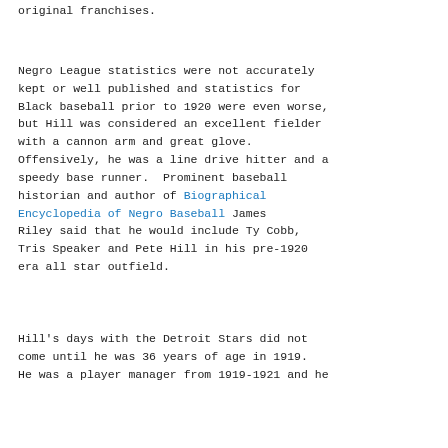original franchises.
Negro League statistics were not accurately kept or well published and statistics for Black baseball prior to 1920 were even worse, but Hill was considered an excellent fielder with a cannon arm and great glove. Offensively, he was a line drive hitter and a speedy base runner.  Prominent baseball historian and author of Biographical Encyclopedia of Negro Baseball James Riley said that he would include Ty Cobb, Tris Speaker and Pete Hill in his pre-1920 era all star outfield.
Hill's days with the Detroit Stars did not come until he was 36 years of age in 1919. He was a player manager from 1919-1921 and he